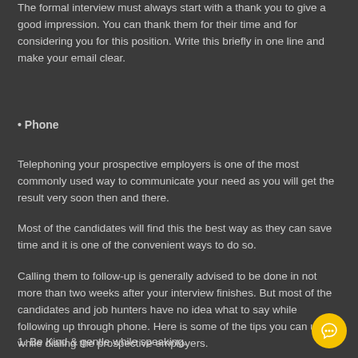The formal interview must always start with a thank you to give a good impression. You can thank them for their time and for considering you for this position. Write this briefly in one line and make your email clear.
• Phone
Telephoning your prospective employers is one of the most commonly used way to communicate your need as you will get the result very soon then and there.
Most of the candidates will find this the best way as they can save time and it is one of the convenient ways to do so.
Calling them to follow-up is generally advised to be done in not more than two weeks after your interview finishes. But most of the candidates and job hunters have no idea what to say while following up through phone. Here is some of the tips you can use while dialing the prospective employers.
1. Be Kind & gentle while speaking.